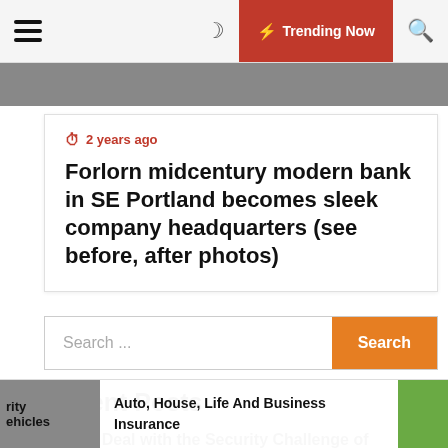Trending Now
2 years ago
Forlorn midcentury modern bank in SE Portland becomes sleek company headquarters (see before, after photos)
Search ...
Recent Posts
How to Deal with the Security Challenge of Automated
Auto, House, Life And Business Insurance